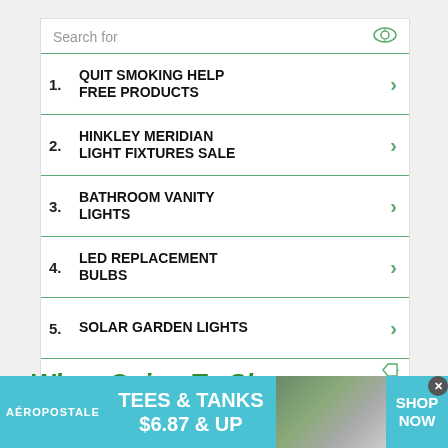[Figure (infographic): Search ad widget with 5 numbered items about lighting products]
1. QUIT SMOKING HELP FREE PRODUCTS
2. HINKLEY MERIDIAN LIGHT FIXTURES SALE
3. BATHROOM VANITY LIGHTS
4. LED REPLACEMENT BULBS
5. SOLAR GARDEN LIGHTS
When Going To Sleep
When retiring to bed, you should consider
[Figure (infographic): Aeropostale banner ad: TEES & TANKS $6.87 & UP, SHOP NOW]